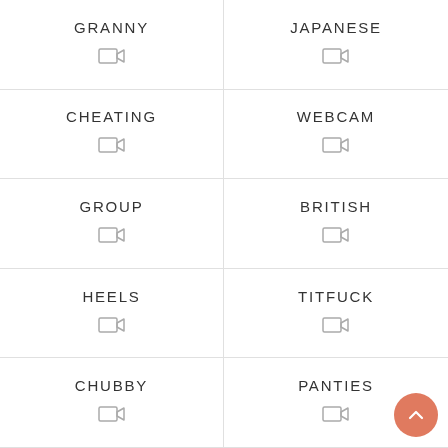GRANNY
JAPANESE
CHEATING
WEBCAM
GROUP
BRITISH
HEELS
TITFUCK
CHUBBY
PANTIES